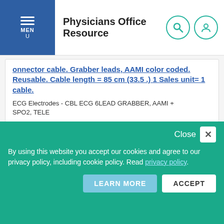Physicians Office Resource
onnector cable. Grabber leads, AAMI color coded. Reusable. Cable length = 85 cm (33.5 .) 1 Sales unit= 1 cable.
ECG Electrodes - CBL ECG 6LEAD GRABBER, AAMI + SPO2, TELE
MX40 Patient Cable consists of 6-wire ECG lead set with integrated 8-pin SpO2 connector cable. Grabber leads, IEC color coded. Reusable. Cable length = 85 cm (33.5 .) 1 Sales unit= 1 cable.
ECG Electrodes - CBL ECG 6 LEAD GRABBER, IEC+SPO2, TELE
By using this website you accept our cookies and agree to our privacy policy, including cookie policy. Read privacy policy.